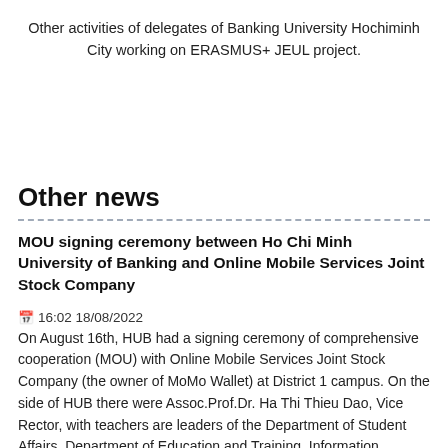Other activities of delegates of Banking University Hochiminh City working on ERASMUS+ JEUL project.
Other news
MOU signing ceremony between Ho Chi Minh University of Banking and Online Mobile Services Joint Stock Company
16:02 18/08/2022
On August 16th, HUB had a signing ceremony of comprehensive cooperation (MOU) with Online Mobile Services Joint Stock Company (the owner of MoMo Wallet) at District 1 campus. On the side of HUB there were Assoc.Prof.Dr. Ha Thi Thieu Dao, Vice Rector, with teachers are leaders of the Department of Student Affairs, Department of Education and Training, Information